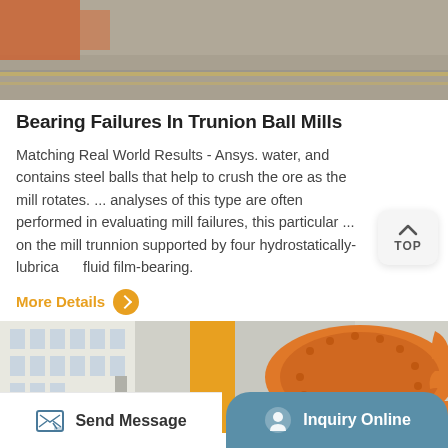[Figure (photo): Industrial facility floor with tracks/rails and an orange structure visible, viewed from above]
Bearing Failures In Trunion Ball Mills
Matching Real World Results - Ansys. water, and contains steel balls that help to crush the ore as the mill rotates. ... analyses of this type are often performed in evaluating mill failures, this particular ... on the mill trunnion supported by four hydrostatically-lubricated fluid film-bearing.
More Details
[Figure (photo): Industrial ball mill equipment - orange cylindrical mill with gears beside a factory building]
Send Message
Inquiry Online